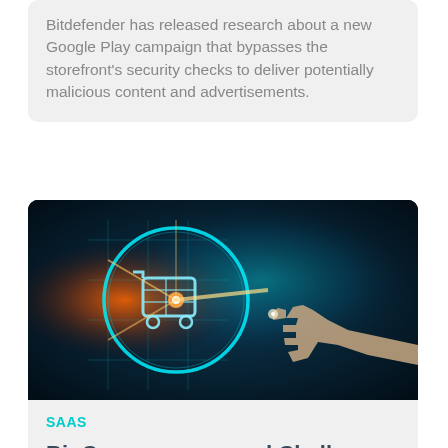Bitdefender has released research about a new Google Play campaign that bypasses the storefront's security checks to deliver potentially malicious content and advertisements.
[Figure (photo): A hand reaching out to touch a glowing digital shopping cart icon on a dark teal/blue background with light flares and digital circuit patterns]
SAAS
BigCommerce named Challenger for Digital Commerce Platforms